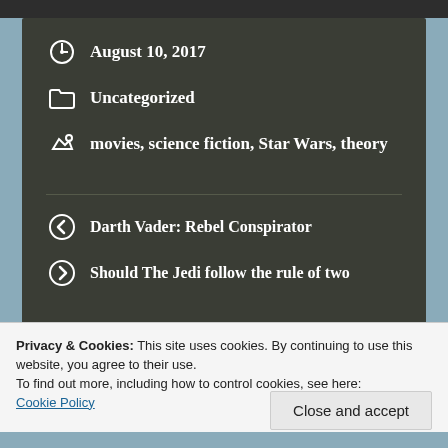August 10, 2017
Uncategorized
movies, science fiction, Star Wars, theory
Darth Vader: Rebel Conspirator
Should The Jedi follow the rule of two
6 thoughts on
Privacy & Cookies: This site uses cookies. By continuing to use this website, you agree to their use.
To find out more, including how to control cookies, see here: Cookie Policy
Close and accept